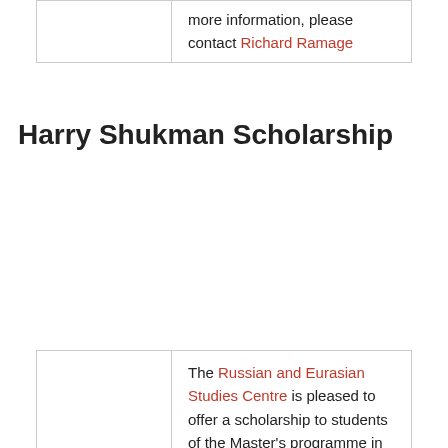|  | more information, please contact Richard Ramage |
Harry Shukman Scholarship
| Eligibility | The Russian and Eurasian Studies Centre is pleased to offer a scholarship to students of the Master's programme in Russian and East European Studies who are based at St Antony's. A preference will be given to students studying the Caucasus and/or an Islamic theme. A preference will also be given to students from the Russian Federation. The scholarship will be awarded according to merit and |